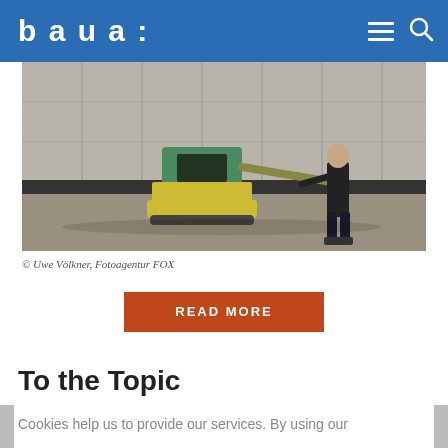baua:
[Figure (photo): A construction worker operating a yellow and green plate compactor machine on a gravel surface, with a concrete wall in the background. The worker is dressed in dark work clothes.]
© Uwe Völkner, Fotoagentur FOX
READ MORE
To the Topic
Cookies help us to provide our services. By using our